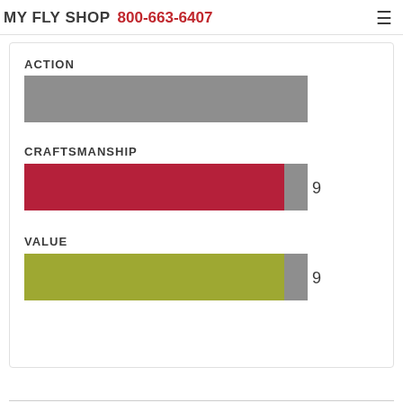MY FLY SHOP 800-663-6407
[Figure (bar-chart): Ratings]
Buy on-line or talk with a knowledgeable fly fishing